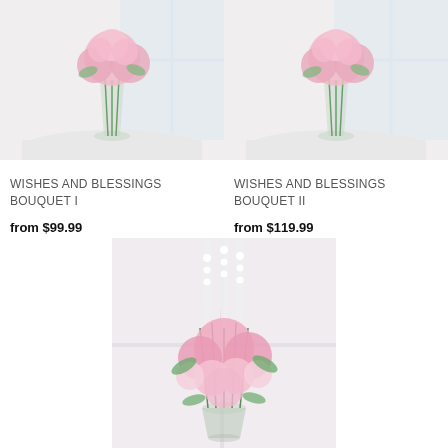[Figure (photo): Pink flower bouquet in glass vase on white round table, top-left product]
WISHES AND BLESSINGS BOUQUET I
from $99.99
[Figure (photo): Pink flower bouquet in glass vase on white round table, top-right product]
WISHES AND BLESSINGS BOUQUET II
from $119.99
[Figure (photo): Tall pink flower arrangement with lilies, roses, and white delphinium in glass vase, bottom-center product]